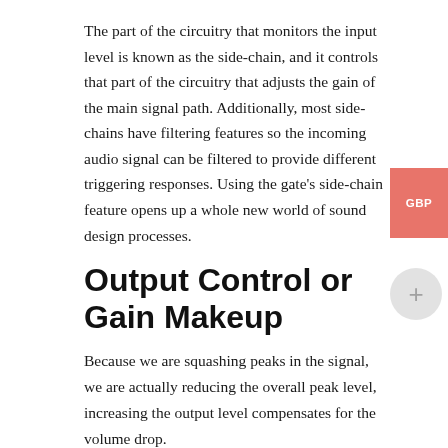The part of the circuitry that monitors the input level is known as the side-chain, and it controls that part of the circuitry that adjusts the gain of the main signal path. Additionally, most side-chains have filtering features so the incoming audio signal can be filtered to provide different triggering responses. Using the gate's side-chain feature opens up a whole new world of sound design processes.
Output Control or Gain Makeup
Because we are squashing peaks in the signal, we are actually reducing the overall peak level, increasing the output level compensates for the volume drop.
Turn this level up until the peak levels of the compressed signal match the bypassed signal peaks.
Peak/RMS
RMS stands for Root Mean Square and is a mathematical